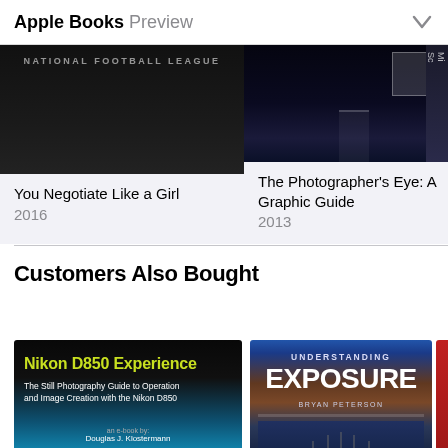Apple Books Preview
[Figure (screenshot): Book covers row: 'You Negotiate Like a Girl' (2016) and 'The Photographer's Eye: A Graphic Guide' (2013), partially visible third book]
You Negotiate Like a Girl
2016
The Photographer's Eye: A Graphic Guide
2013
Customers Also Bought
[Figure (screenshot): Book covers: 'Nikon D850 Experience – The Still Photography Guide to Operation and Image Creation with the Nikon D850' by Douglas J. Klostermann; 'Understanding Exposure' by Bryan Peterson; partial third book cover in red]